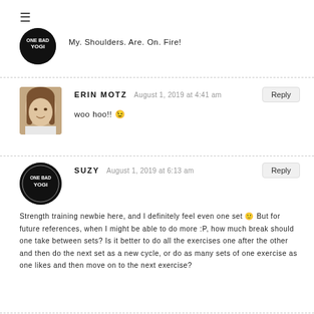≡
My. Shoulders. Are. On. Fire!
woo hoo!! 😉
Strength training newbie here, and I definitely feel even one set 🙂 But for future references, when I might be able to do more :P, how much break should one take between sets? Is it better to do all the exercises one after the other and then do the next set as a new cycle, or do as many sets of one exercise as one likes and then move on to the next exercise?